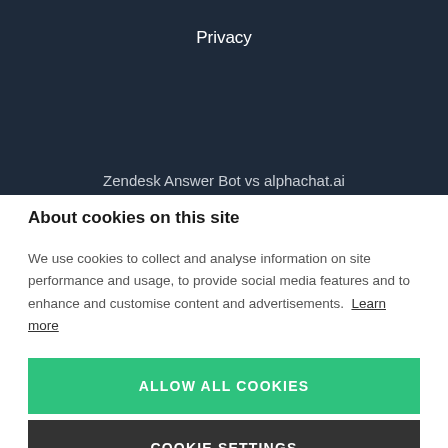Privacy
Zendesk Answer Bot vs alphachat.ai
About cookies on this site
We use cookies to collect and analyse information on site performance and usage, to provide social media features and to enhance and customise content and advertisements. Learn more
ALLOW ALL COOKIES
COOKIE SETTINGS